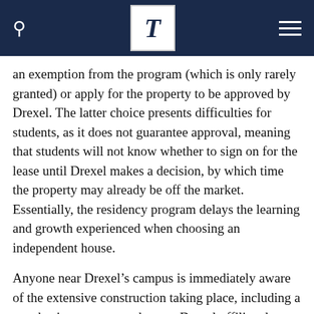T
an exemption from the program (which is only rarely granted) or apply for the property to be approved by Drexel. The latter choice presents difficulties for students, as it does not guarantee approval, meaning that students will not know whether to sign on for the lease until Drexel makes a decision, by which time the property may already be off the market. Essentially, the residency program delays the learning and growth experienced when choosing an independent house.
Anyone near Drexel’s campus is immediately aware of the extensive construction taking place, including a new business center and a new Drexel-affiliated housing location. Although the construction of the new business building is somewhat understandable, the new Drexel-affiliated housing location further